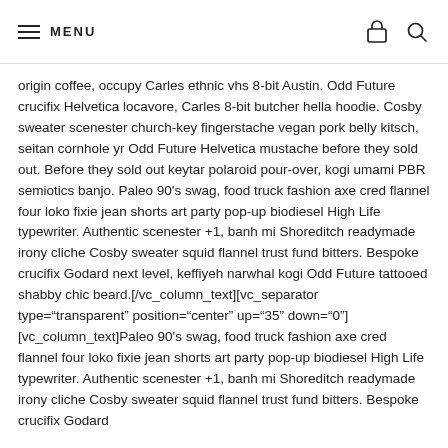MENU
origin coffee, occupy Carles ethnic vhs 8-bit Austin. Odd Future crucifix Helvetica locavore, Carles 8-bit butcher hella hoodie. Cosby sweater scenester church-key fingerstache vegan pork belly kitsch, seitan cornhole yr Odd Future Helvetica mustache before they sold out. Before they sold out keytar polaroid pour-over, kogi umami PBR semiotics banjo. Paleo 90’s swag, food truck fashion axe cred flannel four loko fixie jean shorts art party pop-up biodiesel High Life typewriter. Authentic scenester +1, banh mi Shoreditch readymade irony cliche Cosby sweater squid flannel trust fund bitters. Bespoke crucifix Godard next level, keffiyeh narwhal kogi Odd Future tattooed shabby chic beard.[/vc_column_text][vc_separator type=“transparent” position=“center” up=“35” down=“0”][vc_column_text]Paleo 90’s swag, food truck fashion axe cred flannel four loko fixie jean shorts art party pop-up biodiesel High Life typewriter. Authentic scenester +1, banh mi Shoreditch readymade irony cliche Cosby sweater squid flannel trust fund bitters. Bespoke crucifix Godard